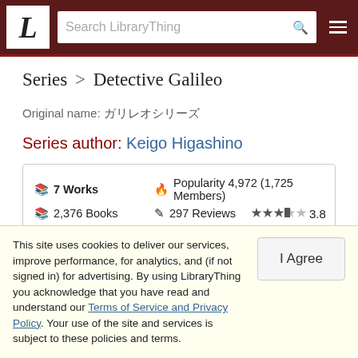LibraryThing — Search LibraryThing
Series > Detective Galileo
Original name: ガリレオシリーズ
Series author: Keigo Higashino
| 📚 7 Works | 🔥 Popularity 4,972 (1,725 Members) |
| 📚 2,376 Books | ✏ 297 Reviews | ★★★½☆ 3.8 |
next > | show all 7 | ≡≡ Titles | ⊞ Covers
This site uses cookies to deliver our services, improve performance, for analytics, and (if not signed in) for advertising. By using LibraryThing you acknowledge that you have read and understand our Terms of Service and Privacy Policy. Your use of the site and services is subject to these policies and terms.